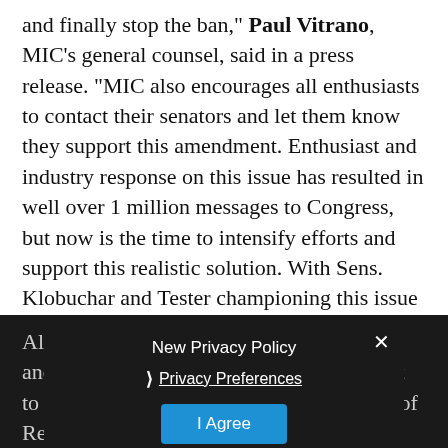and finally stop the ban," Paul Vitrano, MIC's general counsel, said in a press release. "MIC also encourages all enthusiasts to contact their senators and let them know they support this amendment. Enthusiast and industry response on this issue has resulted in well over 1 million messages to Congress, but now is the time to intensify efforts and support this realistic solution. With Sens. Klobuchar and Tester championing this issue in the Senate, we are making real progress."
Along with the new amendment, the MIC and AMA also support the Kids Don't Want to Ride Act, a bill introduced in the House of Representatives by U.S. Rep. Denny Rehberg (R-Mont.) that would also exempt youth ATVs and dirt bikes from the CPSIA.